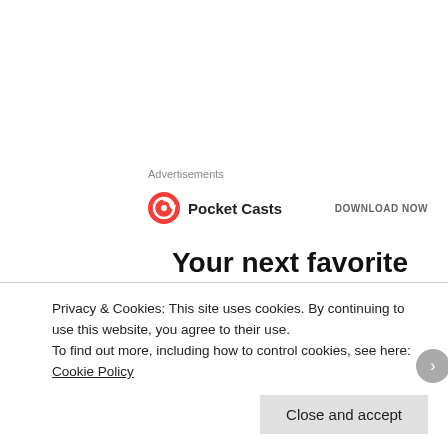Advertisements
[Figure (logo): Pocket Casts logo with circular arrow icon and 'Pocket Casts' text, with 'DOWNLOAD NOW' call to action]
Your next favorite podcast is here
[Figure (photo): Avatar of Rahul Razdan - person with pink/magenta hair and beard]
RAHUL RAZDAN
August 31, 2006 at 7:23 am · Author · Reply
Hi Lakshmikanth:
Privacy & Cookies: This site uses cookies. By continuing to use this website, you agree to their use. To find out more, including how to control cookies, see here: Cookie Policy
Close and accept